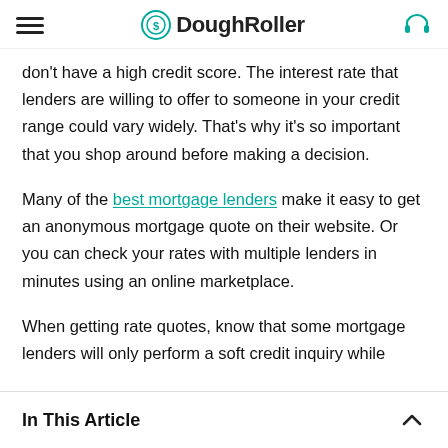DoughRoller
don't have a high credit score. The interest rate that lenders are willing to offer to someone in your credit range could vary widely. That's why it's so important that you shop around before making a decision.
Many of the best mortgage lenders make it easy to get an anonymous mortgage quote on their website. Or you can check your rates with multiple lenders in minutes using an online marketplace.
When getting rate quotes, know that some mortgage lenders will only perform a soft credit inquiry while
In This Article